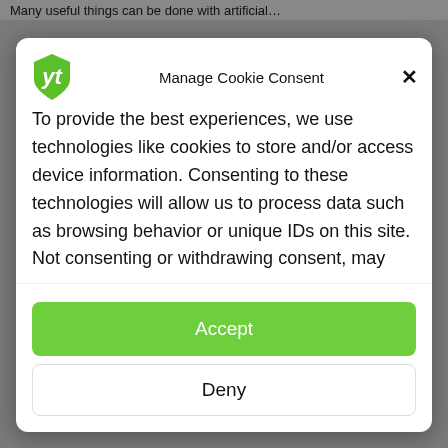Many useful things can be done with artificial…
Manage Cookie Consent
To provide the best experiences, we use technologies like cookies to store and/or access device information. Consenting to these technologies will allow us to process data such as browsing behavior or unique IDs on this site. Not consenting or withdrawing consent, may adversely affect certain features and functions.
Accept
Deny